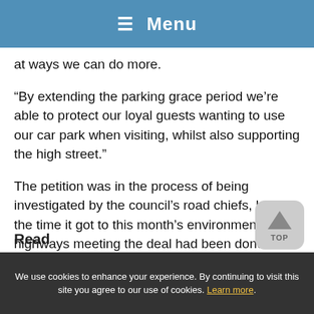☰ Menu
at ways we can do more.
“By extending the parking grace period we’re able to protect our loyal guests wanting to use our car park when visiting, whilst also supporting the high street.”
The petition was in the process of being investigated by the council’s road chiefs, but by the time it got to this month’s environment and highways meeting the deal had been done and no further action will be taken.
Cllr Ken Hawkins, the cabinet member who oversees parking, welcomed the news of a breakthrough having been aware a lack of space had been “a worry” for businesses.
Read
We use cookies to enhance your experience. By continuing to visit this site you agree to our use of cookies. Learn more.